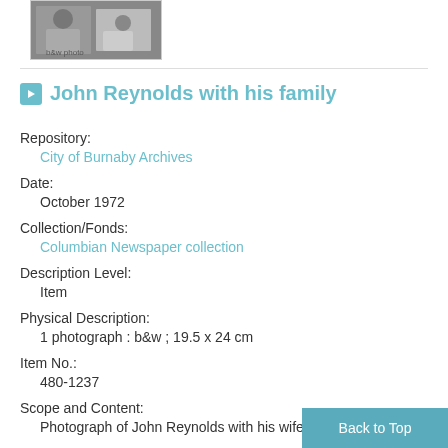[Figure (photo): Black and white photograph showing people, partially visible at top of page]
John Reynolds with his family
Repository:
City of Burnaby Archives
Date:
October 1972
Collection/Fonds:
Columbian Newspaper collection
Description Level:
Item
Physical Description:
1 photograph : b&w ; 19.5 x 24 cm
Item No.:
480-1237
Scope and Content:
Photograph of John Reynolds with his wife Mar…
Back to Top